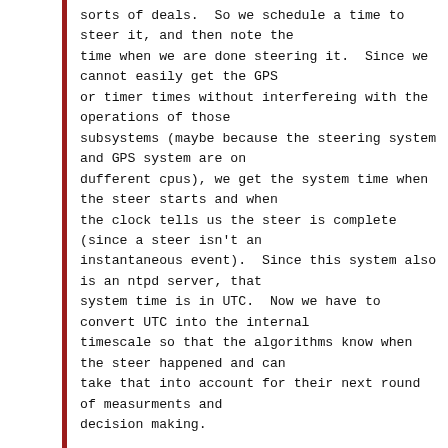sorts of deals.  So we schedule a time to steer it, and then note the time when we are done steering it.  Since we cannot easily get the GPS or timer times without interfereing with the operations of those subsystems (maybe because the steering system and GPS system are on dufferent cpus), we get the system time when the steer starts and when the clock tells us the steer is complete (since a steer isn't an instantaneous event).  Since this system also is an ntpd server, that system time is in UTC.  Now we have to convert UTC into the internal timescale so that the algorithms know when the steer happened and can take that into account for their next round of measurments and decision making.
To make this all work out well, one has to